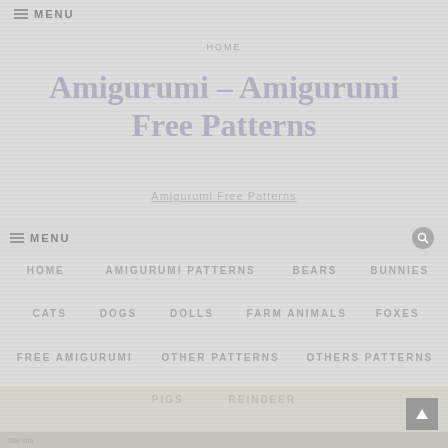≡ MENU
HOME
Amigurumi – Amigurumi Free Patterns
Amigurumi Free Patterns
≡ MENU
HOME
AMIGURUMI PATTERNS
BEARS
BUNNIES
CATS
DOGS
DOLLS
FARM ANIMALS
FOXES
FREE AMIGURUMI
OTHER PATTERNS
OTHERS PATTERNS
PIGS
REINDEER